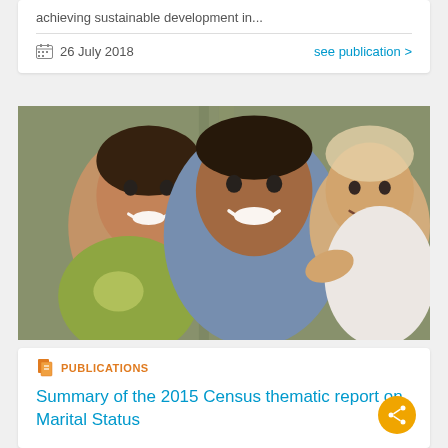achieving sustainable development in...
26 July 2018
see publication >
[Figure (photo): A smiling family of three — a woman in a yellow-green dress, a man in a light blue shirt, and a baby — posing together outdoors near a wooden structure.]
PUBLICATIONS
Summary of the 2015 Census thematic report on Marital Status